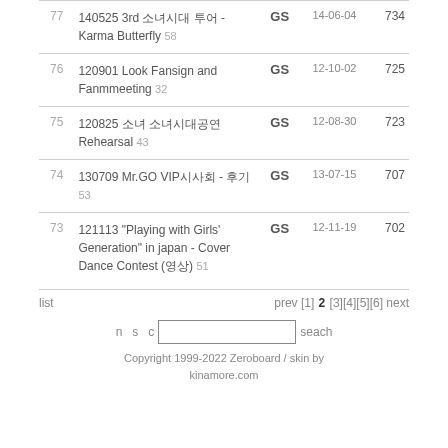| # | Title | GS | Date | Views |
| --- | --- | --- | --- | --- |
| 77 | 140525 3rd 소녀시대 투어 - Karma Butterfly 58 | GS | 14-06-04 | 734 |
| 76 | 120901 Look Fansign and Fanmmeeting 32 | GS | 12-10-02 | 725 |
| 75 | 120825 소녀 소녀시대공연 Rehearsal 43 | GS | 12-08-30 | 723 |
| 74 | 130709 Mr.GO VIP시사회 - 후기 53 | GS | 13-07-15 | 707 |
| 73 | 121113 "Playing with Girls' Generation" in japan - Cover Dance Contest (영상) 51 | GS | 12-11-19 | 702 |
list   prev [1] 2 [3][4][5][6] next
n  s  c  [search box]  seach
Copyright 1999-2022 Zeroboard / skin by kinamore.com